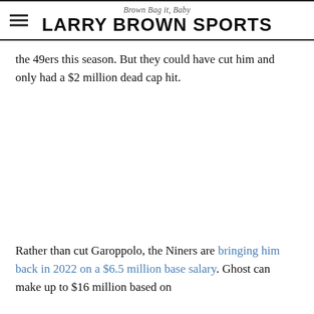Brown Bag it, Baby — LARRY BROWN SPORTS
the 49ers this season. But they could have cut him and only had a $2 million dead cap hit.
Rather than cut Garoppolo, the Niners are bringing him back in 2022 on a $6.5 million base salary. Ghost can make up to $16 million based on